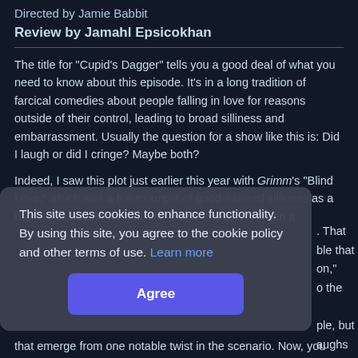Directed by Jamie Babbit
Review by Jamahl Epsicokhan
The title for "Cupid's Dagger" tells you a good deal of what you need to know about this episode. It's in a long tradition of farcical comedies about people falling in love for reasons outside of their control, leading to broad silliness and embarrassment. Usually the question for a show like this is: Did I laugh or did I cringe? Maybe both?
Indeed, I saw this plot just earlier this year with Grimm's "Blind Love," which was a fun example of good-natured silliness as a humorous detour. It made me laugh, especially when a
. That
ble that
on,"
o the
ple, but
aughs
that emerge from one notable twist in the scenario. Now, you
This site uses cookies to enhance functionality. By using this site, you agree to the cookie policy and other terms of use. Learn more
Agree